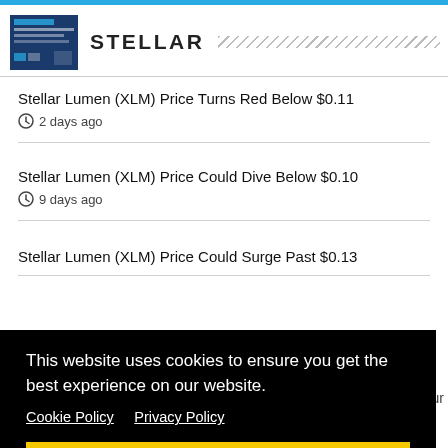STELLAR
Stellar Lumen (XLM) Price Turns Red Below $0.11 — 2 days ago
Stellar Lumen (XLM) Price Could Dive Below $0.10 — 9 days ago
Stellar Lumen (XLM) Price Could Surge Past $0.13
This website uses cookies to ensure you get the best experience on our website.
Cookie Policy   Privacy Policy
Got it!